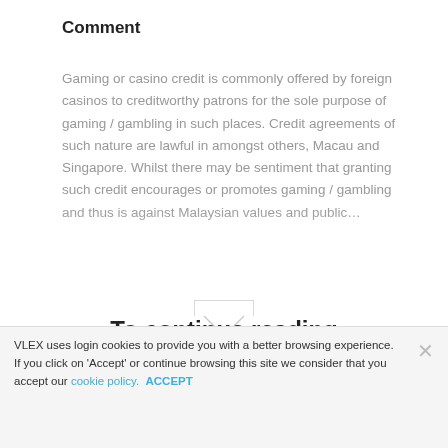Comment
Gaming or casino credit is commonly offered by foreign casinos to creditworthy patrons for the sole purpose of gaming / gambling in such places. Credit agreements of such nature are lawful in amongst others, Macau and Singapore. Whilst there may be sentiment that granting such credit encourages or promotes gaming / gambling and thus is against Malaysian values and public…
To continue reading
Request your trial
VLEX uses login cookies to provide you with a better browsing experience. If you click on 'Accept' or continue browsing this site we consider that you accept our cookie policy. ACCEPT